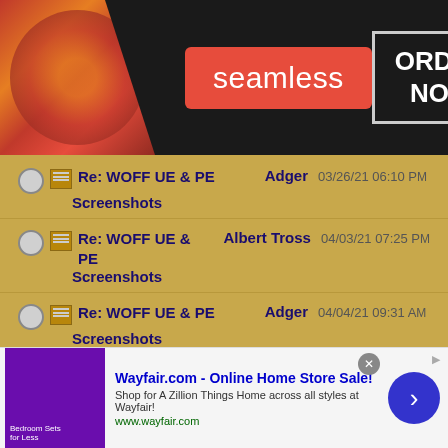[Figure (screenshot): Seamless food ordering banner with pizza image on left, red Seamless logo button in center, and ORDER NOW button on right against dark background]
Re: WOFF UE & PE Screenshots — Adger — 03/26/21 06:10 PM
Re: WOFF UE & PE Screenshots — Albert Tross — 04/03/21 07:25 PM
Re: WOFF UE & PE Screenshots — Adger — 04/04/21 09:31 AM
Re: WOFF UE & PE Screenshots — Albert Tross — 04/04/21 05:47 PM
Re: WOFF UE & PE Screenshots — Sandbagger — 04/04/21 09:35 AM
Re: WOFF UE & PE Screenshots — LtCasey — 04/04/21 10:54 AM
[Figure (screenshot): Wayfair.com advertisement banner: Online Home Store Sale! Shop for A Zillion Things Home across all styles at Wayfair! www.wayfair.com]